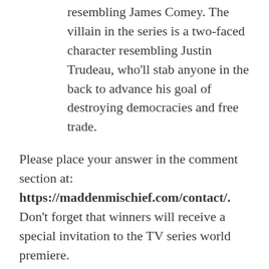resembling James Comey. The villain in the series is a two-faced character resembling Justin Trudeau, who'll stab anyone in the back to advance his goal of destroying democracies and free trade.
Please place your answer in the comment section at: https://maddenmischief.com/contact/. Don't forget that winners will receive a special invitation to the TV series world premiere.